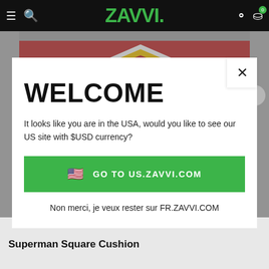ZAVVI.
[Figure (screenshot): Zavvi e-commerce website screenshot showing Superman Square Cushion product page with a modal dialog overlay. Header is black with ZAVVI logo in green. Background shows a Superman product image. A white modal popup contains a region-selection dialog.]
WELCOME
It looks like you are in the USA, would you like to see our US site with $USD currency?
🇺🇸  GO TO US.ZAVVI.COM
Non merci, je veux rester sur FR.ZAVVI.COM
Superman Square Cushion